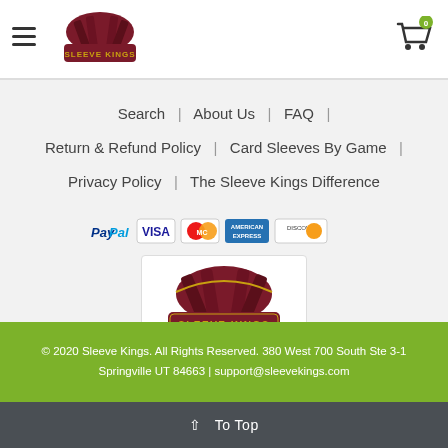Sleeve Kings - Navigation header with logo and cart
Search | About Us | FAQ |
Return & Refund Policy | Card Sleeves By Game |
Privacy Policy | The Sleeve Kings Difference
[Figure (logo): Payment method icons: PayPal, VISA, MasterCard, American Express, Discover]
[Figure (logo): Sleeve Kings logo in white box]
© 2020 Sleeve Kings. All Rights Reserved. 380 West 700 South Ste 3-1 Springville UT 84663 | support@sleevekings.com
^ To Top